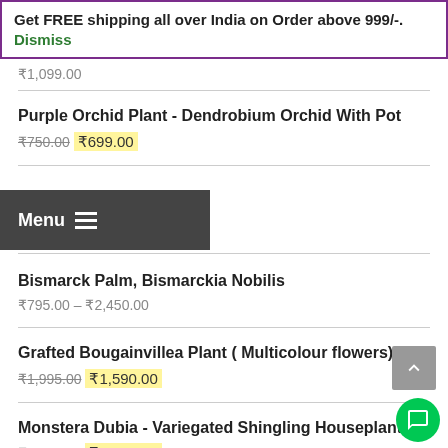Get FREE shipping all over India on Order above 999/-. Dismiss
₹1,099.00
Purple Orchid Plant - Dendrobium Orchid With Pot
₹750.00  ₹699.00
Latest Products
Bismarck Palm, Bismarckia Nobilis
₹795.00 – ₹2,450.00
Grafted Bougainvillea Plant ( Multicolour flowers)
₹1,995.00  ₹1,590.00
Monstera Dubia - Variegated Shingling Houseplant
₹2,599.00  ₹1,999.00